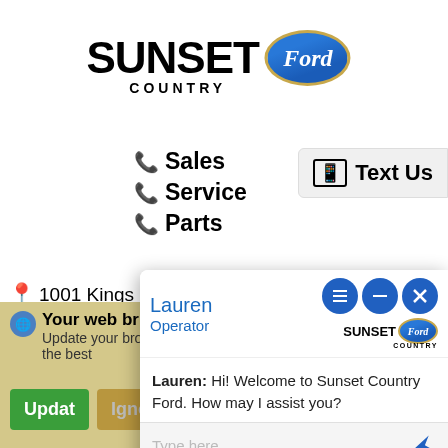[Figure (logo): Sunset Country Ford logo with bold SUNSET text, COUNTRY below, and Ford oval badge]
Sales
Service
Parts
Text Us
1001 Kings Hig' ...
HOUR ...
[Figure (screenshot): Chat widget overlay showing Lauren, Operator, Sunset Country Ford logo, and message: Hi! Welcome to Sunset Country Ford. How may I assist you? with Type here... input and Powered By: LiveAdmins footer]
Your web br... Update your brow... the best
Update browser
Ignore